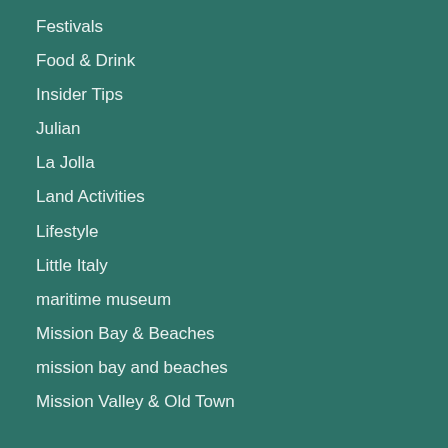Festivals
Food & Drink
Insider Tips
Julian
La Jolla
Land Activities
Lifestyle
Little Italy
maritime museum
Mission Bay & Beaches
mission bay and beaches
Mission Valley & Old Town